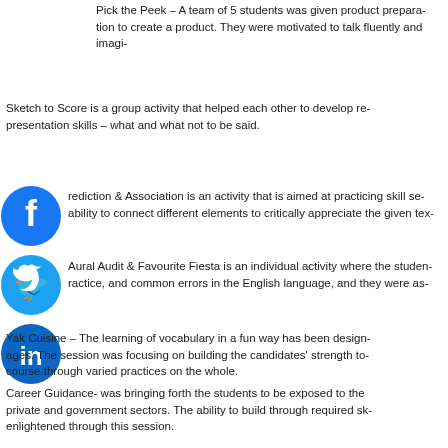Pick the Peek – A team of 5 students was given product preparation to create a product. They were motivated to talk fluently and imagi...
Sketch to Score is a group activity that helped each other to develop re... presentation skills – what and what not to be said.
[Figure (logo): Facebook circular logo icon (blue)]
Prediction & Association is an activity that is aimed at practicing skill se... ability to connect different elements to critically appreciate the given tex...
[Figure (logo): Twitter circular logo icon (blue)]
Aural Audit & Favourite Fiesta is an individual activity where the studen... ractice, and common errors in the English language, and they were as...
[Figure (logo): LinkedIn circular logo icon (blue)]
Yak Cuisine – The learning of vocabulary in a fun way has been design... ages. The session was focusing on building the candidates' strength to... course through varied practices on the whole.
Career Guidance- was bringing forth the students to be exposed to the private and government sectors. The ability to build through required sk... enlightened through this session.